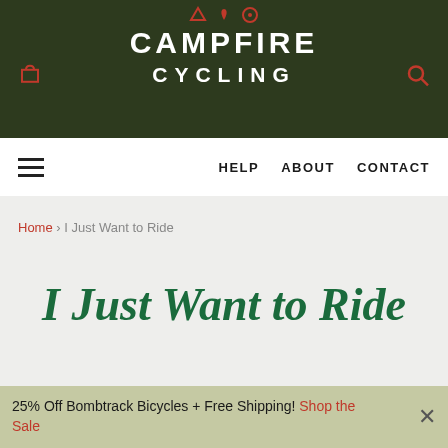CAMPFIRE CYCLING
Home › I Just Want to Ride
I Just Want to Ride
25% Off Bombtrack Bicycles + Free Shipping! Shop the Sale